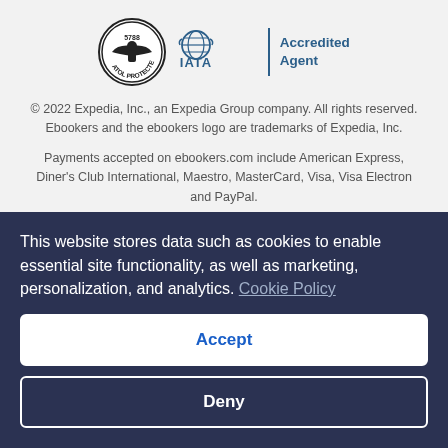[Figure (logo): ATOL Protected circular badge logo and IATA Accredited Agent logo side by side]
© 2022 Expedia, Inc., an Expedia Group company. All rights reserved. Ebookers and the ebookers logo are trademarks of Expedia, Inc.
Payments accepted on ebookers.com include American Express, Diner's Club International, Maestro, MasterCard, Visa, Visa Electron and PayPal.
Flight-inclusive Packages created on ebookers.com are financially protected by the ATOL scheme (under Expedia, Inc.'s ATOL number 5788). ATOL protection does not apply to all travel services listed on this website but you may still be financially protected when booking certain travel services listed on this website that are outside the scope of the
This website stores data such as cookies to enable essential site functionality, as well as marketing, personalization, and analytics. Cookie Policy
Accept
Deny